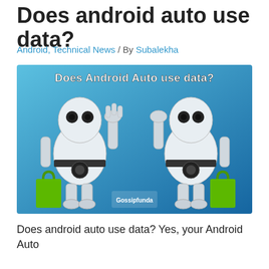Does android auto use data?
Android, Technical News / By Subalekha
[Figure (photo): Two cartoon robots with white bodies holding green shopping bags against a blue gradient background. Text overlay reads 'Does Android Auto use data?' with Gossipfunda logo/watermark at center bottom.]
Does android auto use data? Yes, your Android Auto